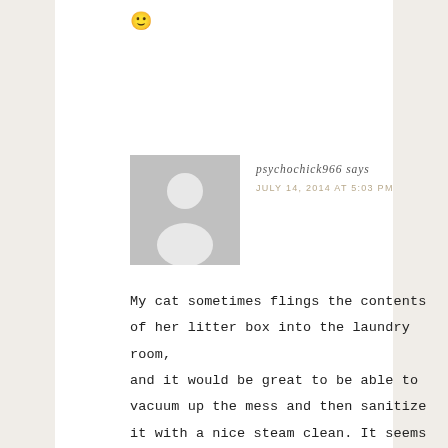[Figure (illustration): Smiley face emoji]
[Figure (illustration): Gray placeholder avatar silhouette showing a person outline]
psychochick966 says
JULY 14, 2014 AT 5:03 PM
My cat sometimes flings the contents of her litter box into the laundry room, and it would be great to be able to vacuum up the mess and then sanitize it with a nice steam clean. It seems like owning that Bissell Symphony would make it quick and easy, as I wouldn't